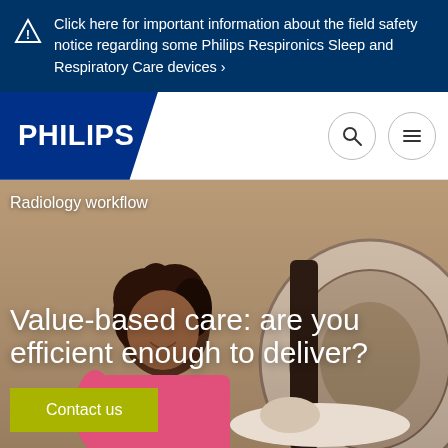Click here for important information about the field safety notice regarding some Philips Respironics Sleep and Respiratory Care devices ›
[Figure (logo): Philips logo - white PHILIPS text on dark blue background with wave shape]
[Figure (photo): Healthcare professional (woman with dreadlocks in pink top) smiling beside a patient lying in an MRI/CT scanner machine. Text overlay reads: Radiology workflow / Value-based care: are you efficient enough to deliver?]
Radiology workflow
Value-based care: are you efficient enough to deliver?
Contact us